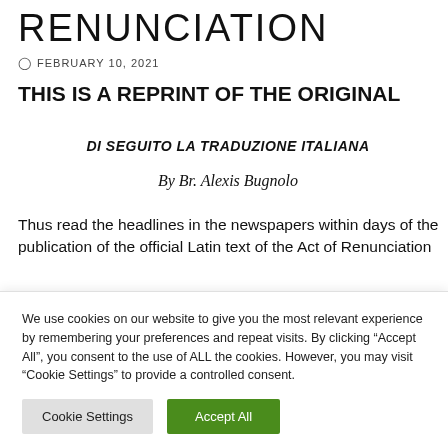RENUNCIATION
FEBRUARY 10, 2021
THIS IS A REPRINT OF THE ORIGINAL
DI SEGUITO LA TRADUZIONE ITALIANA
By Br. Alexis Bugnolo
Thus read the headlines in the newspapers within days of the publication of the official Latin text of the Act of Renunciation
We use cookies on our website to give you the most relevant experience by remembering your preferences and repeat visits. By clicking "Accept All", you consent to the use of ALL the cookies. However, you may visit "Cookie Settings" to provide a controlled consent.